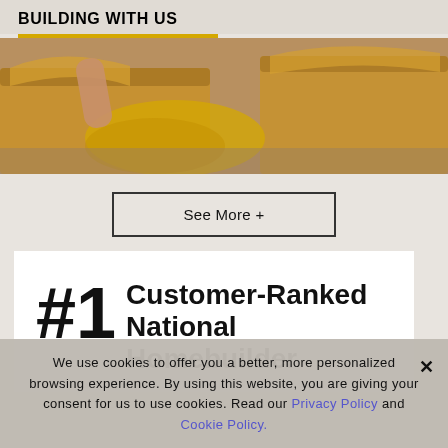BUILDING WITH US
[Figure (photo): Person packing or unpacking cardboard moving boxes with yellow fabric/cushion visible inside]
See More +
#1 Customer-Ranked National Homebuilder
We use cookies to offer you a better, more personalized browsing experience. By using this website, you are giving your consent for us to use cookies. Read our Privacy Policy and Cookie Policy.